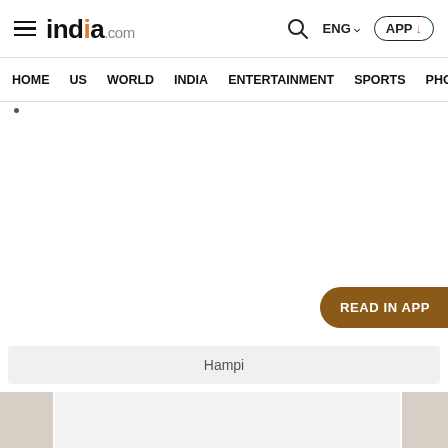india.com — HOME | US | WORLD | INDIA | ENTERTAINMENT | SPORTS | PHO...
[Figure (screenshot): Website screenshot of india.com news portal showing navigation header with hamburger menu, india.com logo, search icon, language selector (ENG), and APP download button. Navigation bar with HOME, US, WORLD, INDIA, ENTERTAINMENT, SPORTS, PHO(TOS) links. Main content area is largely blank/white with a READ IN APP button in the bottom right corner.]
Hampi
[Figure (photo): Bottom strip showing partial thumbnails of images, likely related to Hampi article content]